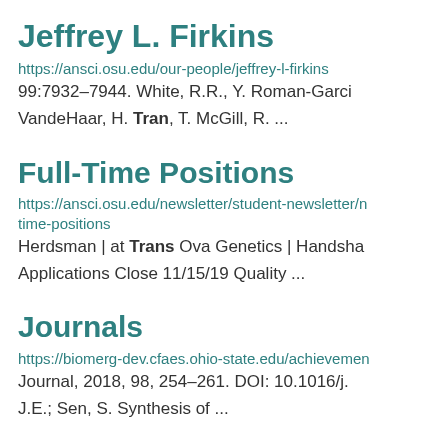Jeffrey L. Firkins
https://ansci.osu.edu/our-people/jeffrey-l-firkins
99:7932-7944. White, R.R., Y. Roman-Garci VandeHaar, H. Tran, T. McGill, R. ...
Full-Time Positions
https://ansci.osu.edu/newsletter/student-newsletter/n time-positions
Herdsman | at Trans Ova Genetics | Handsha Applications Close 11/15/19 Quality ...
Journals
https://biomerg-dev.cfaes.ohio-state.edu/achievemen
Journal, 2018, 98, 254-261. DOI: 10.1016/j.
J.E.; Sen, S. Synthesis of ...